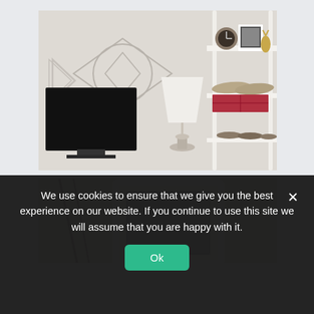[Figure (photo): Interior room photo showing a white wall with geometric diamond/circle decorative wall stickers, a black TV/monitor on the left, a white table lamp in the center, and a white ladder shelf on the right holding decorative items including a clock, a framed photo, a gold deer figurine, and a pair of metallic shoes on a red box. Shoes are visible on lower shelf. Light, neutral tones throughout.]
[Figure (photo): Partial interior photo showing a white wall with a white-framed mirror or artwork leaning against the wall. Very light, minimal styling visible at the bottom of the page.]
We use cookies to ensure that we give you the best experience on our website. If you continue to use this site we will assume that you are happy with it.